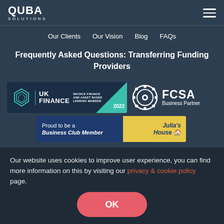QUBA SOLUTIONS
Our Clients   Our Vision   Blog   FAQs
Frequently Asked Questions: Transferring Funding Providers
[Figure (logo): UK Finance Invoice Finance and Asset Based Lending Member 2022 badge and FCSA Business Partner badge]
[Figure (logo): Proud to be a Business Club Member - Julia's House charity badge]
Our website uses cookies to improve user experience, you can find more information on this by visiting our privacy & cookie policy page.